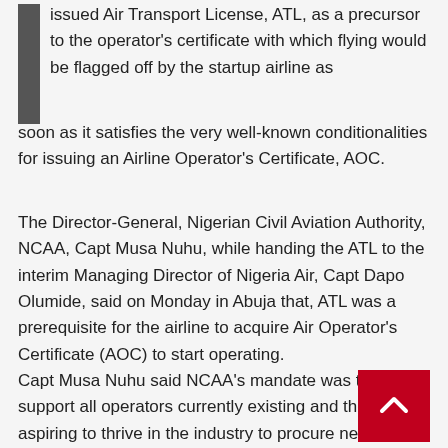issued Air Transport License, ATL, as a precursor to the operator's certificate with which flying would be flagged off by the startup airline as soon as it satisfies the very well-known conditionalities for issuing an Airline Operator's Certificate, AOC.
The Director-General, Nigerian Civil Aviation Authority, NCAA, Capt Musa Nuhu, while handing the ATL to the interim Managing Director of Nigeria Air, Capt Dapo Olumide, said on Monday in Abuja that, ATL was a prerequisite for the airline to acquire Air Operator's Certificate (AOC) to start operating.
Capt Musa Nuhu said NCAA's mandate was to work to support all operators currently existing and those aspiring to thrive in the industry to procure necessary documents toward fulfilling all the requirements to be found worthy of the regulator's licenses and certificates.
The DG affirmed that the ATL issued to the startup, had gone through all the processes hence, he added that as soon as the